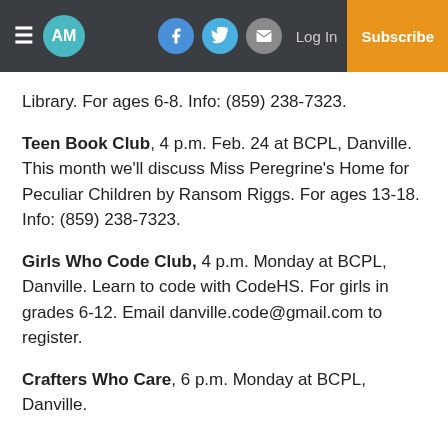AM | Log In | Subscribe
Library. For ages 6-8. Info: (859) 238-7323.
Teen Book Club, 4 p.m. Feb. 24 at BCPL, Danville. This month we'll discuss Miss Peregrine's Home for Peculiar Children by Ransom Riggs. For ages 13-18. Info: (859) 238-7323.
Girls Who Code Club, 4 p.m. Monday at BCPL, Danville. Learn to code with CodeHS. For girls in grades 6-12. Email danville.code@gmail.com to register.
Crafters Who Care, 6 p.m. Monday at BCPL, Danville.